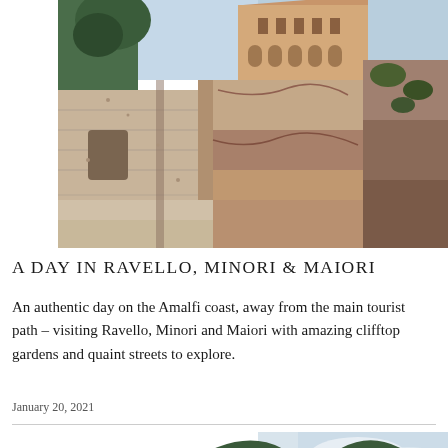[Figure (photo): Photograph of a historic castle or fortified building with stone walls on a cliff, with a Gothic-style structure visible at the top and a tree to the left, warm sandy rock tones, blue sky]
A DAY IN RAVELLO, MINORI & MAIORI
An authentic day on the Amalfi coast, away from the main tourist path – visiting Ravello, Minori and Maiori with amazing clifftop gardens and quaint streets to explore.
January 20, 2021
[Figure (photo): Photograph of a steep hillside covered with terraced gardens and dense vegetation, with cloudy sky in the background, blue-green tones]